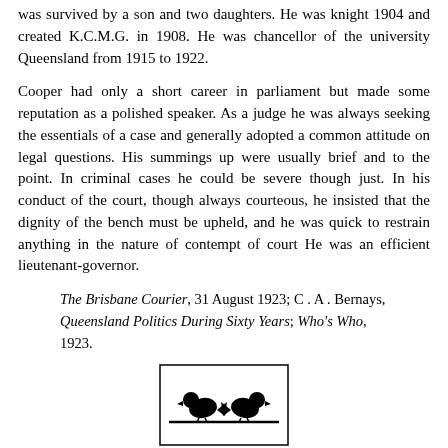was survived by a son and two daughters. He was knight 1904 and created K.C.M.G. in 1908. He was chancellor of the university Queensland from 1915 to 1922.
Cooper had only a short career in parliament but made some reputation as a polished speaker. As a judge he was always seeking the essentials of a case and generally adopted a common attitude on legal questions. His summings up were usually brief and to the point. In criminal cases he could be severe though just. In his conduct of the court, though always courteous, he insisted that the dignity of the bench must be upheld, and he was quick to restrain anything in the nature of contempt of court He was an efficient lieutenant-governor.
The Brisbane Courier, 31 August 1923; C . A . Bernays, Queensland Politics During Sixty Years; Who's Who, 1923.
[Figure (illustration): Two black silhouette birds (parrots) perched on a branch, facing each other, inside a rectangular border.]
^Top of page